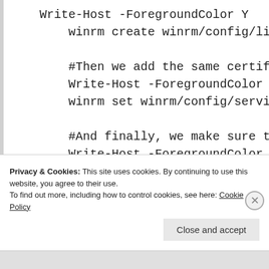Write-Host -ForegroundColor Y
    winrm create winrm/config/lis

    #Then we add the same certifi
    Write-Host -ForegroundColor Y
    winrm set winrm/config/servic

    #And finally, we make sure th
    Write-Host -ForegroundColor Y
Privacy & Cookies: This site uses cookies. By continuing to use this website, you agree to their use.
To find out more, including how to control cookies, see here: Cookie Policy